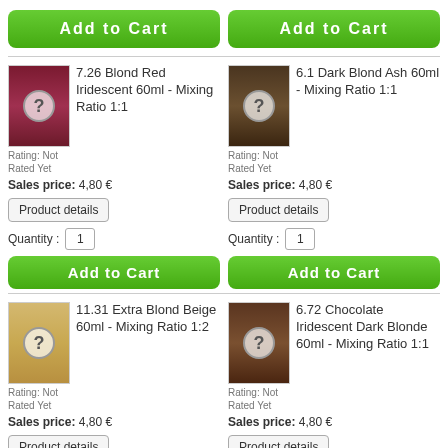[Figure (other): Add to Cart button (green, top left)]
[Figure (other): Add to Cart button (green, top right)]
[Figure (photo): Woman with red/purple hair with question mark overlay]
7.26 Blond Red Iridescent 60ml - Mixing Ratio 1:1
Rating: Not Rated Yet
Sales price: 4,80 €
[Figure (other): Product details button]
Quantity : 1
[Figure (other): Add to Cart button (green, mid left)]
[Figure (photo): Woman with dark wavy hair with question mark overlay]
6.1 Dark Blond Ash 60ml - Mixing Ratio 1:1
Rating: Not Rated Yet
Sales price: 4,80 €
[Figure (other): Product details button]
Quantity : 1
[Figure (other): Add to Cart button (green, mid right)]
[Figure (photo): Woman with blonde hair with question mark overlay]
11.31 Extra Blond Beige 60ml - Mixing Ratio 1:2
Rating: Not Rated Yet
Sales price: 4,80 €
[Figure (other): Product details button]
Quantity : 1
[Figure (photo): Woman with brown hair with question mark overlay]
6.72 Chocolate Iridescent Dark Blonde 60ml - Mixing Ratio 1:1
Rating: Not Rated Yet
Sales price: 4,80 €
[Figure (other): Product details button]